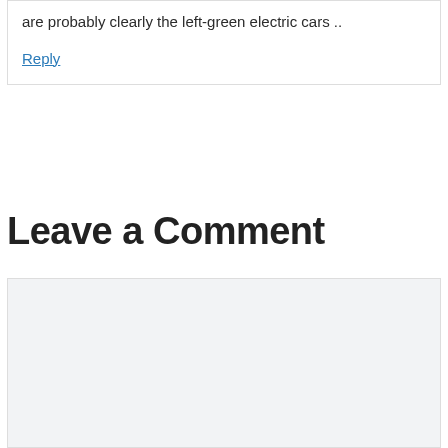are probably clearly the left-green electric cars ..
Reply
Leave a Comment
[Figure (other): Empty comment text input area with light gray background]